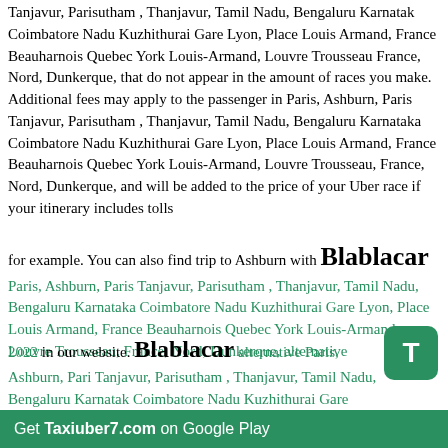Tanjavur, Parisutham , Thanjavur, Tamil Nadu, Bengaluru Karnataka Coimbatore Nadu Kuzhithurai Gare Lyon, Place Louis Armand, France Beauharnois Quebec York Louis-Armand, Louvre Trousseau France, Nord, Dunkerque, that do not appear in the amount of races you make. Additional fees may apply to the passenger in Paris, Ashburn, Paris Tanjavur, Parisutham , Thanjavur, Tamil Nadu, Bengaluru Karnataka Coimbatore Nadu Kuzhithurai Gare Lyon, Place Louis Armand, France Beauharnois Quebec York Louis-Armand, Louvre Trousseau, France, Nord, Dunkerque, and will be added to the price of your Uber race if your itinerary includes tolls
for example. You can also find trip to Ashburn with Blablacar Paris, Ashburn, Paris Tanjavur, Parisutham , Thanjavur, Tamil Nadu, Bengaluru Karnataka Coimbatore Nadu Kuzhithurai Gare Lyon, Place Louis Armand, France Beauharnois Quebec York Louis-Armand, Louvre Trousseau, France, Nord, Dunkerque, alternative
2022 in our website. Blablacar alternative Paris, Ashburn, Paris Tanjavur, Parisutham , Thanjavur, Tamil Nadu, Bengaluru Karnataka Coimbatore Nadu Kuzhithurai Gare Lyon, Place Louis Armand, France Beauharnois Quebec York Louis-Armand, Louvre Trousseau, France, Nord, Dunkerque, you can find free trips at web Taxiuber7.com. Blablacar alternative United States Taxiuber7.com – at this website you can find empty real truck which ride from one country to another. Blablacar Brussels is an
Get Taxiuber7.com on Google Play